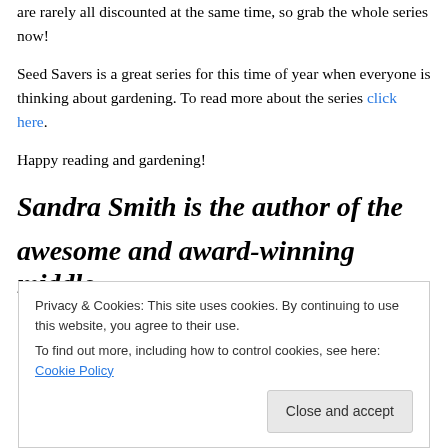are rarely all discounted at the same time, so grab the whole series now!
Seed Savers is a great series for this time of year when everyone is thinking about gardening. To read more about the series click here.
Happy reading and gardening!
Sandra Smith is the author of the
awesome and award-winning middle
Privacy & Cookies: This site uses cookies. By continuing to use this website, you agree to their use. To find out more, including how to control cookies, see here: Cookie Policy
Close and accept